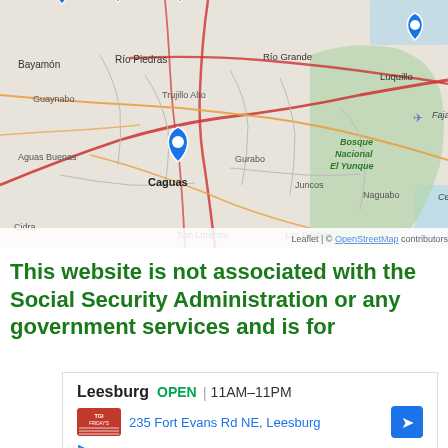[Figure (map): Interactive map of northeastern Puerto Rico showing locations near Caguas, Río Piedras, Bayamón, Río Grande, Luquillo, Bosque Nacional El Yunque, Aguas Buenas, Gurabo, Juncos, Naguabo, San Lorenzo, Las Piedras, Cidra, Fajardo area. Multiple blue location pin markers visible. Map from Leaflet / OpenStreetMap. Zoom controls (+/-) visible at bottom right.]
This website is not associated with the Social Security Administration or any government services and is for
[Figure (screenshot): Advertisement banner for TGI Fridays Leesburg location. Shows: Leesburg OPEN 11AM–11PM, 235 Fort Evans Rd NE, Leesburg, with navigation arrow icon. TGI Fridays logo on left. Play and close icons below.]